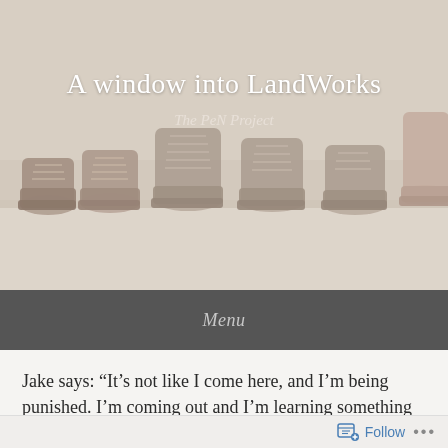[Figure (photo): Header photo of multiple worn leather boots and work boots lined up on a wooden shelf, faded/washed-out color treatment. Text overlay reads 'A window into LandWorks' and subtitle 'The PeN Project'.]
A window into LandWorks
The PeN Project
Menu
Jake says: “It's not like I come here, and I’m being punished. I’m coming out and I’m learning something new...”
Follow ...